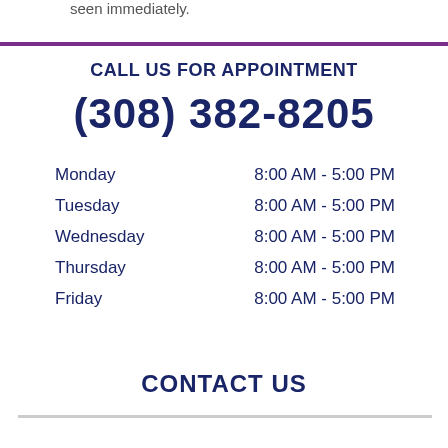seen immediately.
CALL US FOR APPOINTMENT
(308) 382-8205
| Day | Hours |
| --- | --- |
| Monday | 8:00 AM - 5:00 PM |
| Tuesday | 8:00 AM - 5:00 PM |
| Wednesday | 8:00 AM - 5:00 PM |
| Thursday | 8:00 AM - 5:00 PM |
| Friday | 8:00 AM - 5:00 PM |
CONTACT US